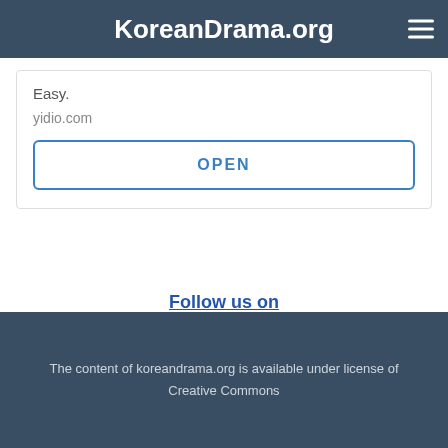KoreanDrama.org
Easy.
yidio.com
OPEN
Follow us on
[Figure (logo): Facebook and Twitter social media icons side by side]
The content of koreandrama.org is available under license of Creative Commons